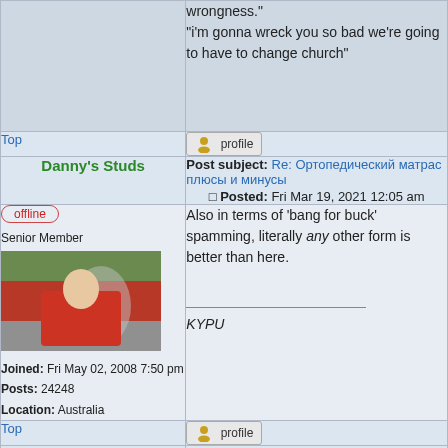wrongness."
"i'm gonna wreck you so bad we're going to have to change church"
Top
profile
Danny's Studs
Post subject: Re: Ортопедический матрас плюсы и минусы
Posted: Fri Mar 19, 2021 12:05 am
offline
Senior Member
Joined: Fri May 02, 2008 7:50 pm
Posts: 24248
Location: Australia
Also in terms of 'bang for buck' spamming, literally any other form is better than here.

KYPU
Top
profile
Bert Trautmanns neck
Post subject: Re: Ортопедический